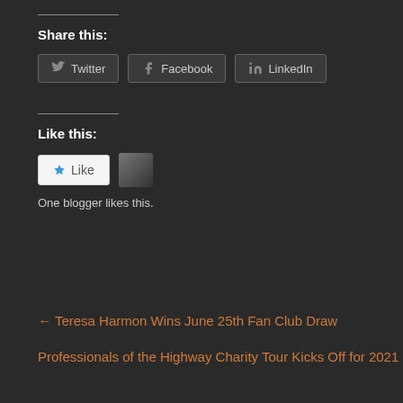Share this:
Twitter | Facebook | LinkedIn (share buttons)
Like this:
[Figure (other): Like button with star icon and blogger avatar thumbnail]
One blogger likes this.
← Teresa Harmon Wins June 25th Fan Club Draw
Professionals of the Highway Charity Tour Kicks Off for 2021